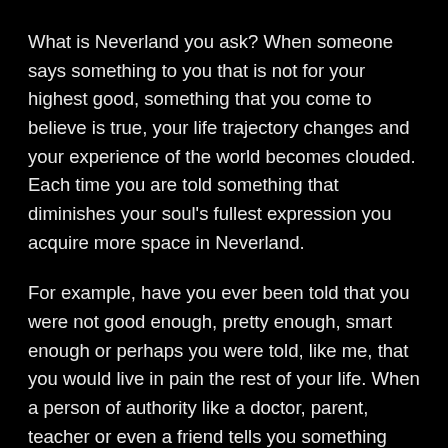What is Neverland you ask? When someone says something to you that is not for your highest good, something that you come to believe is true, your life trajectory changes and your experience of the world becomes clouded. Each time you are told something that diminishes your soul's fullest expression you acquire more space in Neverland.
For example, have you ever been told that you were not good enough, pretty enough, smart enough or perhaps you were told, like me, that you would live in pain the rest of your life. When a person of authority like a doctor, parent, teacher or even a friend tells you something that is not for your highest good and which you believe to be true, then part of your energy ends up in Neverland. Just keep in mind that no human being